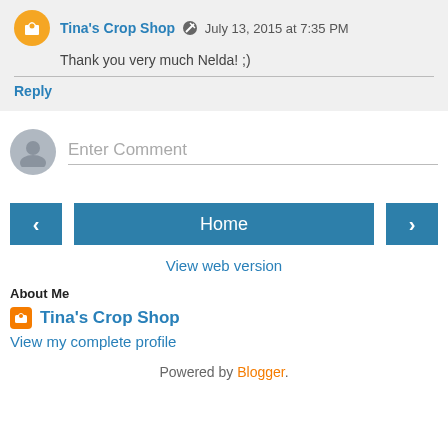Tina's Crop Shop  July 13, 2015 at 7:35 PM
Thank you very much Nelda! ;)
Reply
Enter Comment
Home
View web version
About Me
Tina's Crop Shop
View my complete profile
Powered by Blogger.